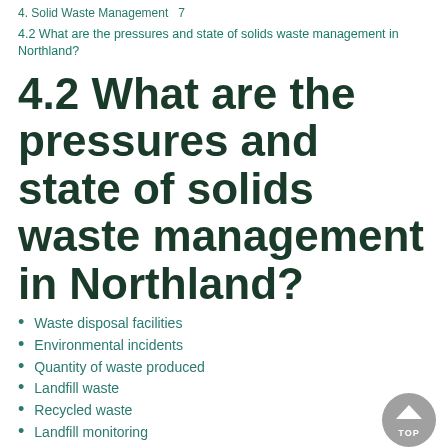4. Solid Waste Management   7
4.2 What are the pressures and state of solids waste management in Northland?
4.2 What are the pressures and state of solids waste management in Northland?
Waste disposal facilities
Environmental incidents
Quantity of waste produced
Landfill waste
Recycled waste
Landfill monitoring